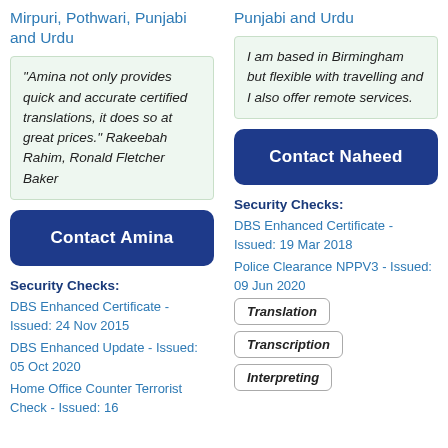Mirpuri, Pothwari, Punjabi and Urdu
"Amina not only provides quick and accurate certified translations, it does so at great prices." Rakeebah Rahim, Ronald Fletcher Baker
Contact Amina
Security Checks:
DBS Enhanced Certificate - Issued: 24 Nov 2015
DBS Enhanced Update - Issued: 05 Oct 2020
Home Office Counter Terrorist Check - Issued: 16
Punjabi and Urdu
I am based in Birmingham but flexible with travelling and I also offer remote services.
Contact Naheed
Security Checks:
DBS Enhanced Certificate - Issued: 19 Mar 2018
Police Clearance NPPV3 - Issued: 09 Jun 2020
Translation
Transcription
Interpreting